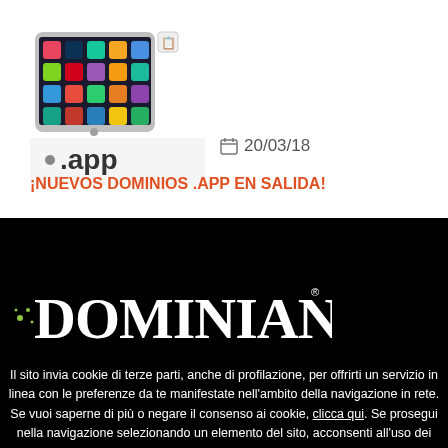[Figure (photo): Smartphone with colorful app icons on screen, with .app domain logo overlay below]
20/03/18
¡NUEVOS DOMINIOS .APP EN SALIDA!
[Figure (logo): Dominiando logo - white text on black background]
Il sito invia cookie di terze parti, anche di profilazione, per offrirti un servizio in linea con le preferenze da te manifestate nell'ambito della navigazione in rete. Se vuoi saperne di più o negare il consenso ai cookie, clicca qui. Se prosegui nella navigazione selezionando un elemento del sito, acconsenti all'uso dei cookie. Ho capito.